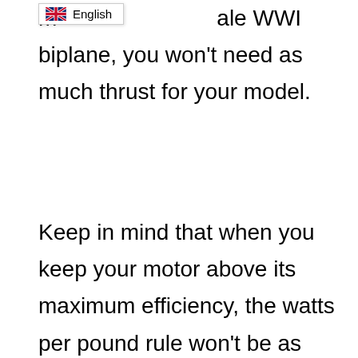[Figure (other): Language selector UI element showing UK flag and text 'English']
m...ale WWI biplane, you won't need as much thrust for your model.
Keep in mind that when you keep your motor above its maximum efficiency, the watts per pound rule won't be as accurate as it usually would. That's because you'll have a higher percentage of Watts being used to make heat instead of creating power. Below we provide some ideas in Watts per pound